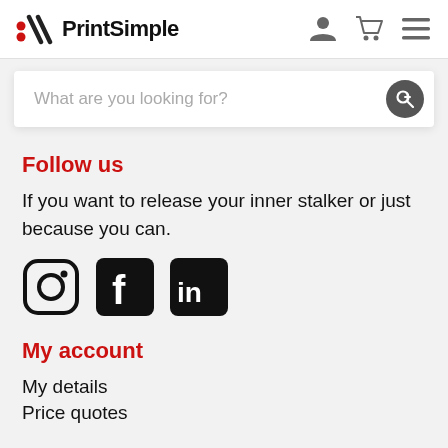PrintSimple
What are you looking for?
Follow us
If you want to release your inner stalker or just because you can.
[Figure (logo): Social media icons: Instagram, Facebook, LinkedIn]
My account
My details
Price quotes